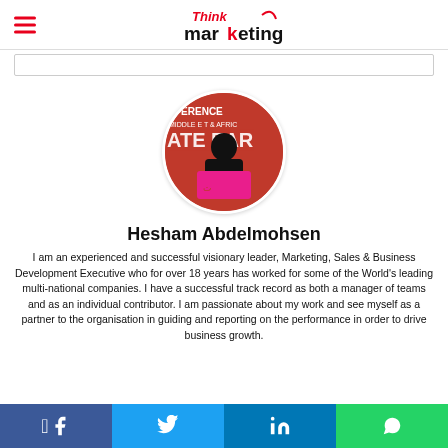Think marketing
[Figure (photo): Circular profile photo of Hesham Abdelmohsen speaking at a conference with a red banner background reading 'FERENCE MIDDLE EAST & AFRICA LATE YEAR']
Hesham Abdelmohsen
I am an experienced and successful visionary leader, Marketing, Sales & Business Development Executive who for over 18 years has worked for some of the World's leading multi-national companies. I have a successful track record as both a manager of teams and as an individual contributor. I am passionate about my work and see myself as a partner to the organisation in guiding and reporting on the performance in order to drive business growth.